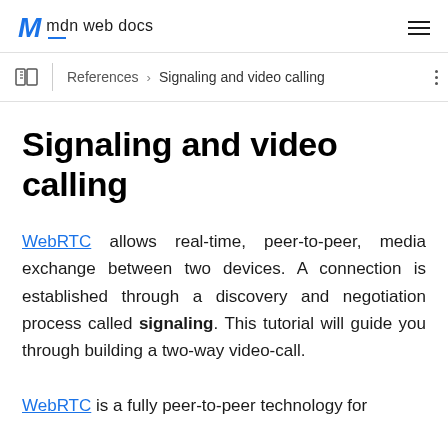mdn web docs
References › Signaling and video calling
Signaling and video calling
WebRTC allows real-time, peer-to-peer, media exchange between two devices. A connection is established through a discovery and negotiation process called signaling. This tutorial will guide you through building a two-way video-call.
WebRTC is a fully peer-to-peer technology for